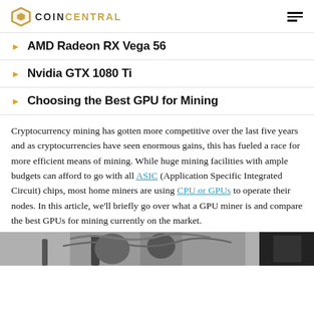COIN CENTRAL
AMD Radeon RX Vega 56
Nvidia GTX 1080 Ti
Choosing the Best GPU for Mining
Cryptocurrency mining has gotten more competitive over the last five years and as cryptocurrencies have seen enormous gains, this has fueled a race for more efficient means of mining. While huge mining facilities with ample budgets can afford to go with all ASIC (Application Specific Integrated Circuit) chips, most home miners are using CPU or GPUs to operate their nodes. In this article, we'll briefly go over what a GPU miner is and compare the best GPUs for mining currently on the market.
[Figure (photo): Photo of GPU mining hardware with cables and circuit boards visible]